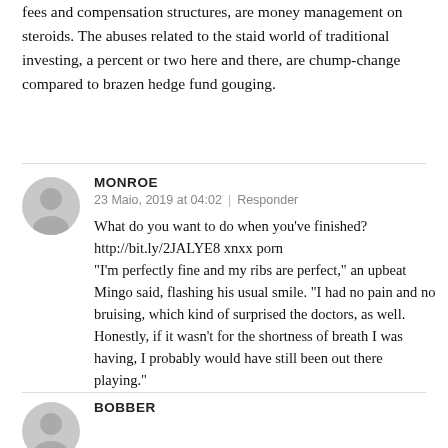fees and compensation structures, are money management on steroids. The abuses related to the staid world of traditional investing, a percent or two here and there, are chump-change compared to brazen hedge fund gouging.
MONROE
23 Maio, 2019 at 04:02  |  Responder
What do you want to do when you've finished? http://bit.ly/2JALYE8 xnxx porn “I’m perfectly fine and my ribs are perfect,” an upbeat Mingo said, flashing his usual smile. “I had no pain and no bruising, which kind of surprised the doctors, as well. Honestly, if it wasn’t for the shortness of breath I was having, I probably would have still been out there playing.”
BOBBER